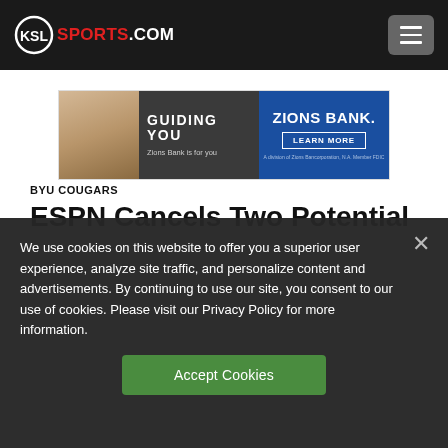KSL SPORTS.COM
[Figure (screenshot): Zions Bank advertisement banner: woman smiling, text 'GUIDING YOU Zions Bank is for you' on left side, 'ZIONS BANK. LEARN MORE' on blue right side]
BYU COUGARS
ESPN Cancels Two Potential
We use cookies on this website to offer you a superior user experience, analyze site traffic, and personalize content and advertisements. By continuing to use our site, you consent to our use of cookies. Please visit our Privacy Policy for more information.
Accept Cookies